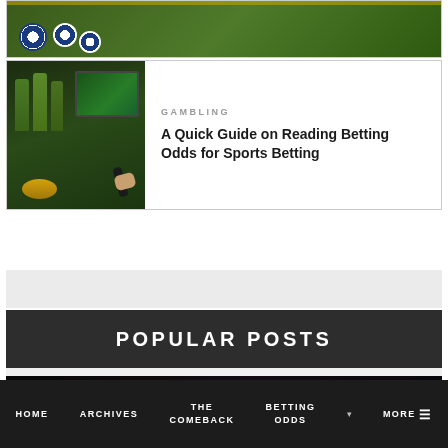[Figure (photo): Soccer balls on grass field, partially visible at top of page]
GAMBLING
A Quick Guide on Reading Betting Odds for Sports Betting
[Figure (photo): Person watching sports on TV with beer bottles and snacks, holding remote control]
POPULAR POSTS
[Figure (photo): Dark image of what appears to be a baseball-related scene]
HOME   ARCHIVES   THE COMEBACK   BETTING ODDS   MORE